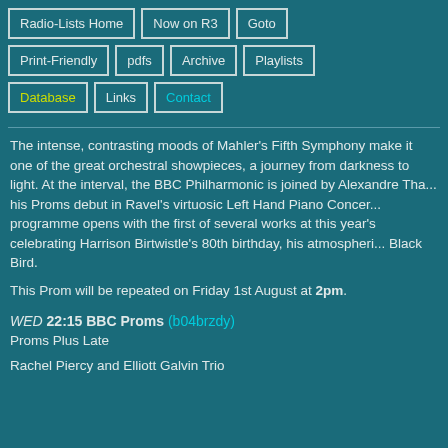Radio-Lists Home
Now on R3
Goto
Print-Friendly
pdfs
Archive
Playlists
Database
Links
Contact
The intense, contrasting moods of Mahler's Fifth Symphony make it one of the great orchestral showpieces, a journey from darkness to light. At the interval, the BBC Philharmonic is joined by Alexandre Tharaud making his Proms debut in Ravel's virtuosic Left Hand Piano Concerto. The programme opens with the first of several works at this year's Proms celebrating Harrison Birtwistle's 80th birthday, his atmospheric... Black Bird.
This Prom will be repeated on Friday 1st August at 2pm.
WED 22:15 BBC Proms (b04brzdy)
Proms Plus Late
Rachel Piercy and Elliott Galvin Trio